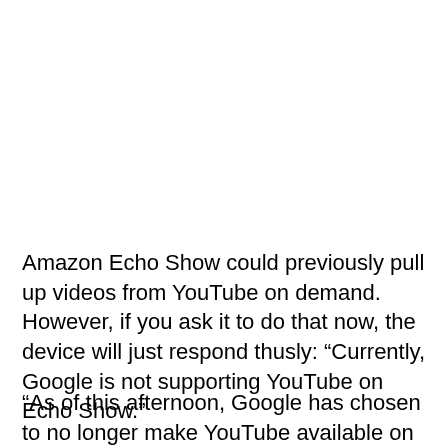Amazon Echo Show could previously pull up videos from YouTube on demand. However, if you ask it to do that now, the device will just respond thusly: “Currently, Google is not supporting YouTube on Echo Show.”
“As of this afternoon, Google has chosen to no longer make YouTube available on Echo Show, without explanation and without notification to customers,” a